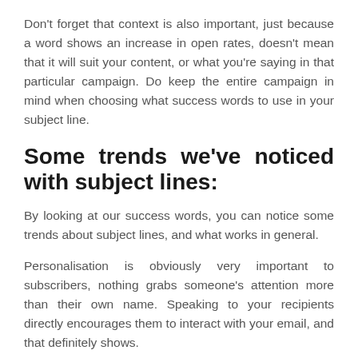Don't forget that context is also important, just because a word shows an increase in open rates, doesn't mean that it will suit your content, or what you're saying in that particular campaign. Do keep the entire campaign in mind when choosing what success words to use in your subject line.
Some trends we've noticed with subject lines:
By looking at our success words, you can notice some trends about subject lines, and what works in general.
Personalisation is obviously very important to subscribers, nothing grabs someone's attention more than their own name. Speaking to your recipients directly encourages them to interact with your email, and that definitely shows.
If you don't have your subscribers' names on hand, luckily personal pronouns work as well. The fact that "We" and